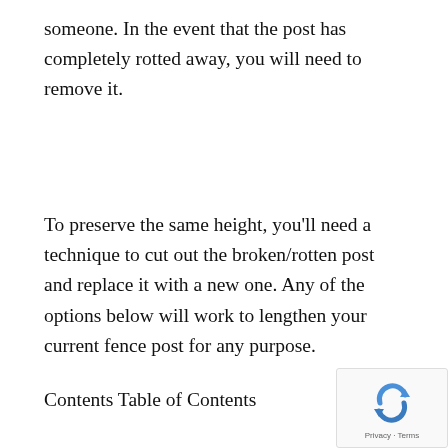someone. In the event that the post has completely rotted away, you will need to remove it.
To preserve the same height, you'll need a technique to cut out the broken/rotten post and replace it with a new one. Any of the options below will work to lengthen your current fence post for any purpose.
Contents Table of Contents
[Figure (logo): reCAPTCHA logo with Privacy and Terms footer]